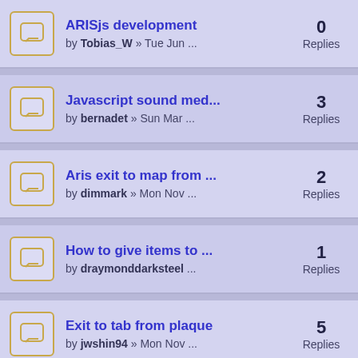ARISjs development by Tobias_W » Tue Jun ... 0 Replies
Javascript sound med... by bernadet » Sun Mar ... 3 Replies
Aris exit to map from ... by dimmark » Mon Nov ... 2 Replies
How to give items to ... by draymonddarksteel ... 1 Replies
Exit to tab from plaque by jwshin94 » Mon Nov ... 5 Replies
Playing Audio in Conv... 3